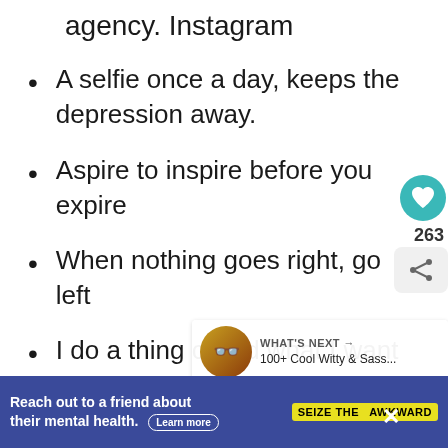agency. Instagram
A selfie once a day, keeps the depression away.
Aspire to inspire before you expire
When nothing goes right, go left
I do a thing called what I want
Oh darling, go buy a perso
You were my cup of tea but I drink
Reach out to a friend about their mental health. Learn more
SEIZE THE AWKWARD